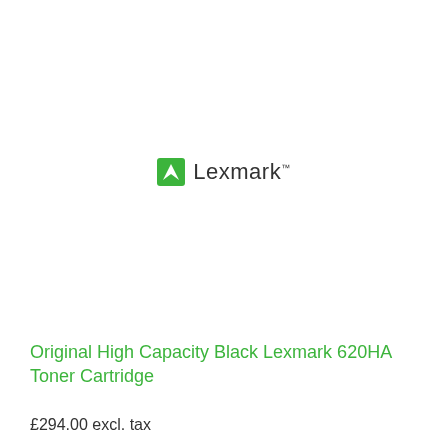[Figure (logo): Lexmark logo with green arrow/diamond icon and 'Lexmark' text with trademark symbol]
Original High Capacity Black Lexmark 620HA Toner Cartridge
£294.00 excl. tax